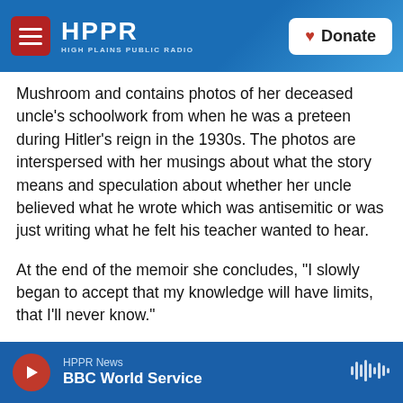HPPR — HIGH PLAINS PUBLIC RADIO | Donate
Mushroom and contains photos of her deceased uncle's schoolwork from when he was a preteen during Hitler's reign in the 1930s. The photos are interspersed with her musings about what the story means and speculation about whether her uncle believed what he wrote which was antisemitic or was just writing what he felt his teacher wanted to hear.
At the end of the memoir she concludes, “I slowly began to accept that my knowledge will have limits, that I’ll never know.”
HPPR News | BBC World Service